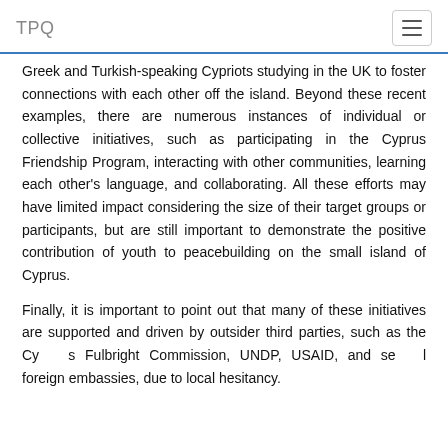TPQ
Greek and Turkish-speaking Cypriots studying in the UK to foster connections with each other off the island. Beyond these recent examples, there are numerous instances of individual or collective initiatives, such as participating in the Cyprus Friendship Program, interacting with other communities, learning each other's language, and collaborating. All these efforts may have limited impact considering the size of their target groups or participants, but are still important to demonstrate the positive contribution of youth to peacebuilding on the small island of Cyprus.
Finally, it is important to point out that many of these initiatives are supported and driven by outsider third parties, such as the Cyprus Fulbright Commission, UNDP, USAID, and several foreign embassies, due to local hesitancy.